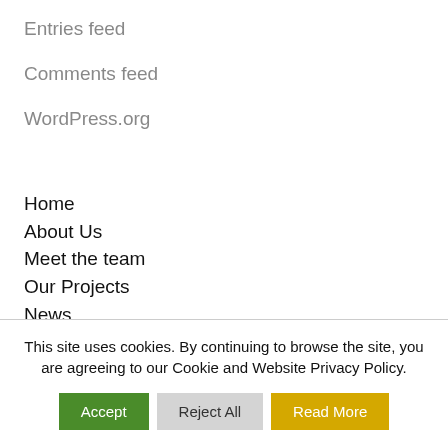Entries feed
Comments feed
WordPress.org
Home
About Us
Meet the team
Our Projects
News
Contact us
This site uses cookies. By continuing to browse the site, you are agreeing to our Cookie and Website Privacy Policy.
Accept | Reject All | Read More